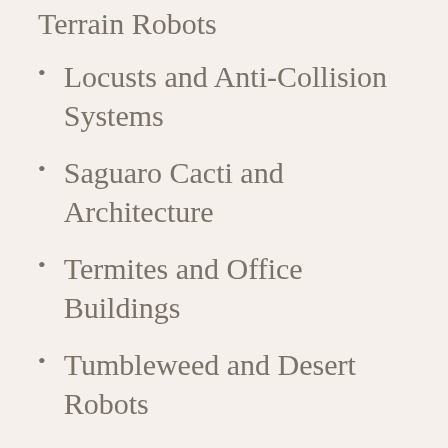Terrain Robots
Locusts and Anti-Collision Systems
Saguaro Cacti and Architecture
Termites and Office Buildings
Tumbleweed and Desert Robots
Grasslands Biomimicry Discovery Cards
Bees and Appliances